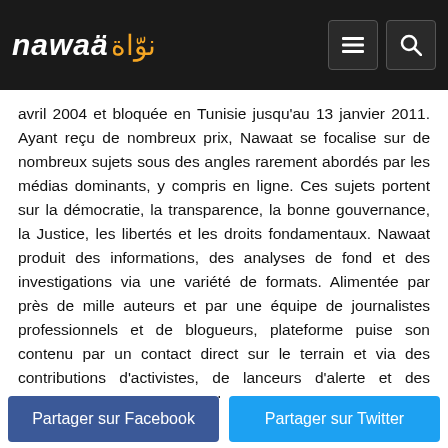nawaat نوّاة
avril 2004 et bloquée en Tunisie jusqu'au 13 janvier 2011. Ayant reçu de nombreux prix, Nawaat se focalise sur de nombreux sujets sous des angles rarement abordés par les médias dominants, y compris en ligne. Ces sujets portent sur la démocratie, la transparence, la bonne gouvernance, la Justice, les libertés et les droits fondamentaux. Nawaat produit des informations, des analyses de fond et des investigations via une variété de formats. Alimentée par près de mille auteurs et par une équipe de journalistes professionnels et de blogueurs, plateforme puise son contenu par un contact direct sur le terrain et via des contributions d'activistes, de lanceurs d'alerte et des citoyens impliqués dans la chose publique, surtout lorsque ladite chose publique souffre de dysfonctionnements. Nous sommes très impliqués au niveau de la protection de la vie privée, la défense de la liberté d'expression, l'OpenData et le droit d'accès à l'information et
Partager sur Facebook | Partager sur Twitter